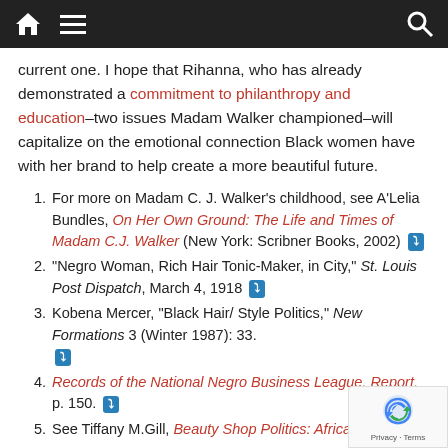Navigation bar with home, menu, and search icons
current one. I hope that Rihanna, who has already demonstrated a commitment to philanthropy and education–two issues Madam Walker championed–will capitalize on the emotional connection Black women have with her brand to help create a more beautiful future.
1. For more on Madam C. J. Walker's childhood, see A'Lelia Bundles, On Her Own Ground: The Life and Times of Madam C.J. Walker (New York: Scribner Books, 2002) ↩
2. "Negro Woman, Rich Hair Tonic-Maker, in City," St. Louis Post Dispatch, March 4, 1918 ↩
3. Kobena Mercer, "Black Hair/ Style Politics," New Formations 3 (Winter 1987): 33. ↩
4. Records of the National Negro Business League, Report, p. 150. ↩
5. See Tiffany M.Gill, Beauty Shop Politics: African